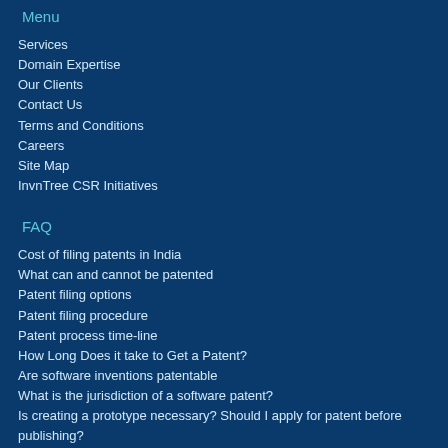Menu
Services
Domain Expertise
Our Clients
Contact Us
Terms and Conditions
Careers
Site Map
InvnTree CSR Initiatives
FAQ
Cost of filing patents in India
What can and cannot be patented
Patent filing options
Patent filing procedure
Patent process time-line
How Long Does it take to Get a Patent?
Are software inventions patentable
What is the jurisdiction of a software patent?
Is creating a prototype necessary? Should I apply for patent before publishing?